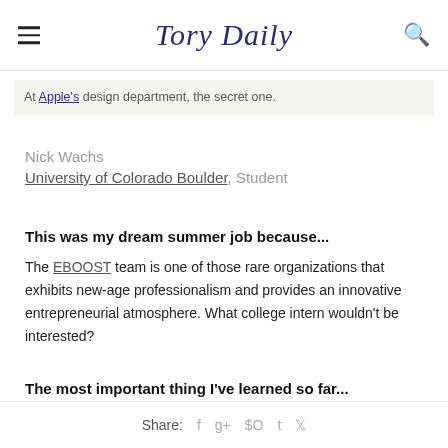Tory Daily
At Apple's design department, the secret one.
Nick Wachs
University of Colorado Boulder, Student
This was my dream summer job because...
The EBOOST team is one of those rare organizations that exhibits new-age professionalism and provides an innovative entrepreneurial atmosphere. What college intern wouldn't be interested?
The most important thing I've learned so far...
Share: f g+ p t bird